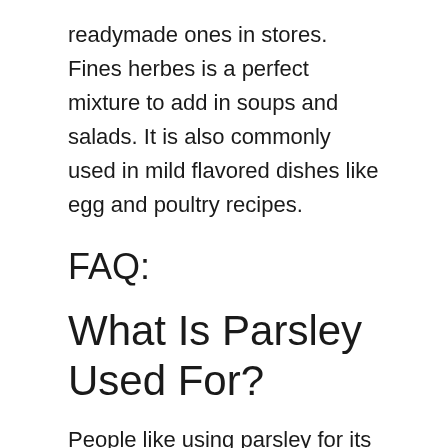readymade ones in stores. Fines herbes is a perfect mixture to add in soups and salads. It is also commonly used in mild flavored dishes like egg and poultry recipes.
FAQ:
What Is Parsley Used For?
People like using parsley for its flavor, appearance, and health benefits whether as a culinary herb or dried spice.